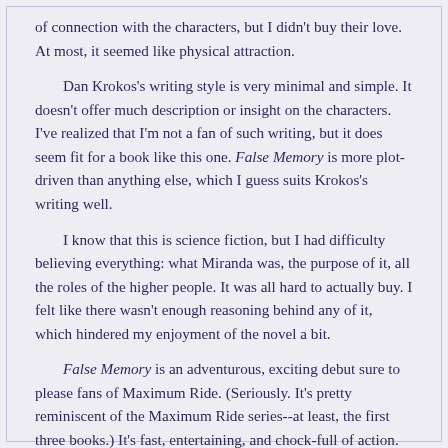of connection with the characters, but I didn't buy their love. At most, it seemed like physical attraction.
Dan Krokos's writing style is very minimal and simple. It doesn't offer much description or insight on the characters. I've realized that I'm not a fan of such writing, but it does seem fit for a book like this one. False Memory is more plot-driven than anything else, which I guess suits Krokos's writing well.
I know that this is science fiction, but I had difficulty believing everything: what Miranda was, the purpose of it, all the roles of the higher people. It was all hard to actually buy. I felt like there wasn't enough reasoning behind any of it, which hindered my enjoyment of the novel a bit.
False Memory is an adventurous, exciting debut sure to please fans of Maximum Ride. (Seriously. It's pretty reminiscent of the Maximum Ride series--at least, the first three books.) It's fast, entertaining, and chock-full of action. However, if you're looking for something with more substantial characters or thoughtful prose, I'm not sure this is the book for you.